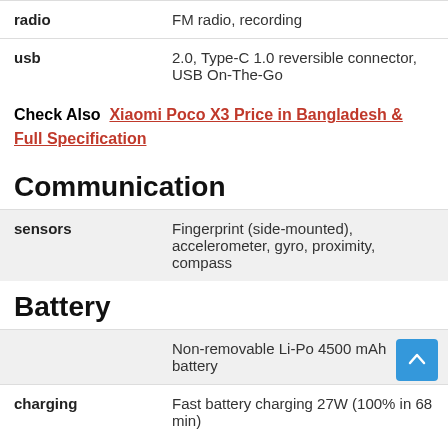| Feature | Details |
| --- | --- |
| radio | FM radio, recording |
| usb | 2.0, Type-C 1.0 reversible connector, USB On-The-Go |
Check Also  Xiaomi Poco X3 Price in Bangladesh & Full Specification
Communication
| Feature | Details |
| --- | --- |
| sensors | Fingerprint (side-mounted), accelerometer, gyro, proximity, compass |
Battery
| Feature | Details |
| --- | --- |
|  | Non-removable Li-Po 4500 mAh battery |
| charging | Fast battery charging 27W (100% in 68 min) |